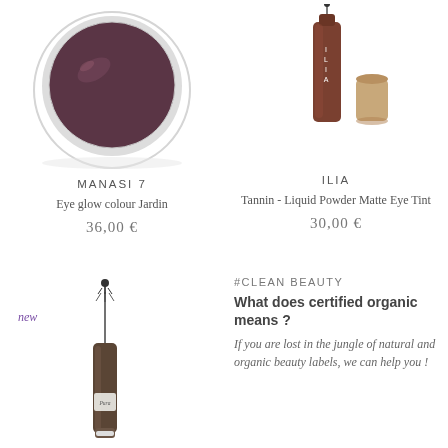[Figure (photo): White round jar/pot of dark plum/burgundy eye shadow cream product from MANASI 7, photographed from above]
[Figure (photo): Brown tube mascara/liquid eyeliner with brush wand from ILIA brand, with separate tan cap component]
MANASI 7
Eye glow colour Jardin
36,00 €
ILIA
Tannin - Liquid Powder Matte Eye Tint
30,00 €
new
[Figure (photo): Dark brown mascara/brow product tube with thin brush wand applicator, labeled 'Pura']
#CLEAN BEAUTY
What does certified organic means ?
If you are lost in the jungle of natural and organic beauty labels, we can help you !